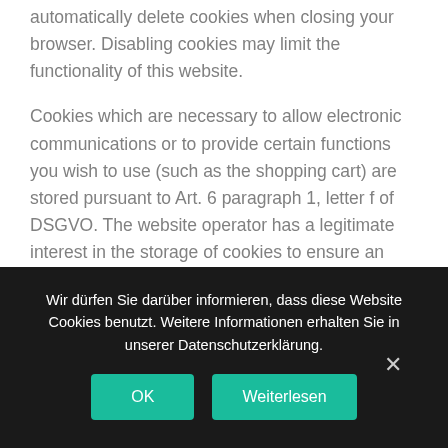automatically delete cookies when closing your browser. Disabling cookies may limit the functionality of this website.
Cookies which are necessary to allow electronic communications or to provide certain functions you wish to use (such as the shopping cart) are stored pursuant to Art. 6 paragraph 1, letter f of DSGVO. The website operator has a legitimate interest in the storage of cookies to ensure an optimized service provided free of technical errors. If other cookies (such as those used to analyze your surfing behavior) are also stored, they will be treated separately in
Wir dürfen Sie darüber informieren, dass diese Website Cookies benutzt. Weitere Informationen erhalten Sie in unserer Datenschutzerklärung.
OK
Weiterlesen